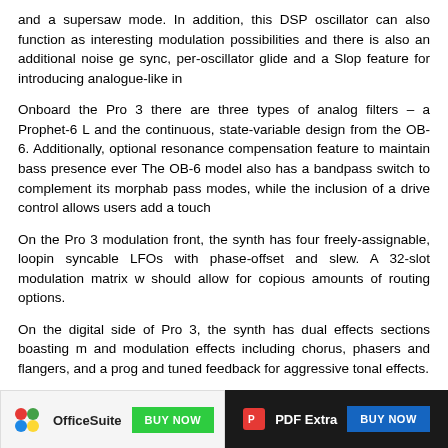and a supersaw mode. In addition, this DSP oscillator can also function as interesting modulation possibilities and there is also an additional noise ge sync, per-oscillator glide and a Slop feature for introducing analogue-like in
Onboard the Pro 3 there are three types of analog filters – a Prophet-6 L and the continuous, state-variable design from the OB-6. Additionally, optional resonance compensation feature to maintain bass presence ever The OB-6 model also has a bandpass switch to complement its morphab pass modes, while the inclusion of a drive control allows users add a touch
On the Pro 3 modulation front, the synth has four freely-assignable, loopin syncable LFOs with phase-offset and slew. A 32-slot modulation matrix w should allow for copious amounts of routing options.
On the digital side of Pro 3, the synth has dual effects sections boasting m and modulation effects including chorus, phasers and flangers, and a prog and tuned feedback for aggressive tonal effects.
The Pro 3 also features an advanced sequencer with 16 tracks, each o phrases. On its rear, the hardware has four CV inputs and outputs, plus a can be used to control the synth itself and external hardware simultaneous
[Figure (other): Advertisement banner: Left side shows OfficeSuite logo with 'BUY NOW' green button on light background. Right side shows PDF Extra logo with 'BUY NOW' blue button on dark background.]